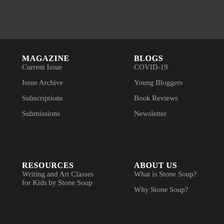MAGAZINE
Current Issue
Issue Archive
Subscriptions
Submissions
BLOGS
COVID-19
Young Bloggers
Book Reviews
Newsletter
RESOURCES
Writing and Art Classes for Kids by Stone Soup
ABOUT US
What is Stone Soup?
Why Stone Soup?